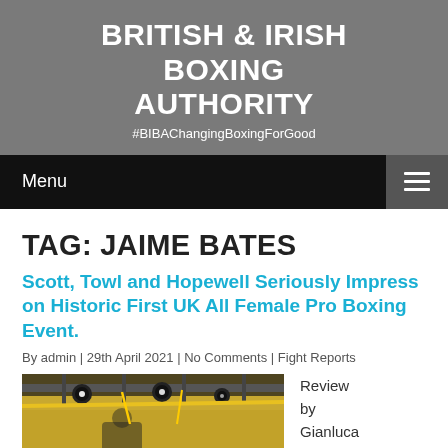BRITISH & IRISH BOXING AUTHORITY
#BIBAChangingBoxingForGood
Menu
TAG: JAIME BATES
Scott, Towl and Hopewell Seriously Impress on Historic First UK All Female Pro Boxing Event.
By admin | 29th April 2021 | No Comments | Fight Reports
[Figure (photo): Boxing event photo showing ring ropes and stage lighting from low angle]
Review by Gianluca Di Caro